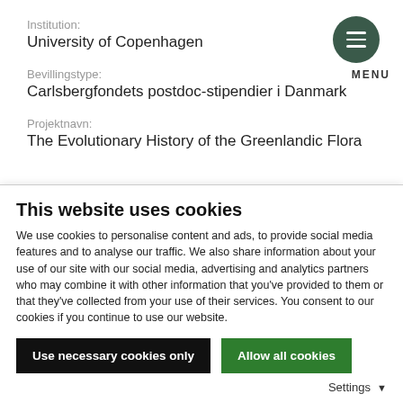Institution:
University of Copenhagen
Bevillingstype:
Carlsbergfondets postdoc-stipendier i Danmark
Projektnavn:
The Evolutionary History of the Greenlandic Flora
2018  /  KR. 1.186.900
Espen Drath Rojeson
This website uses cookies
We use cookies to personalise content and ads, to provide social media features and to analyse our traffic. We also share information about your use of our site with our social media, advertising and analytics partners who may combine it with other information that you've provided to them or that they've collected from your use of their services. You consent to our cookies if you continue to use our website.
Use necessary cookies only
Allow all cookies
Settings